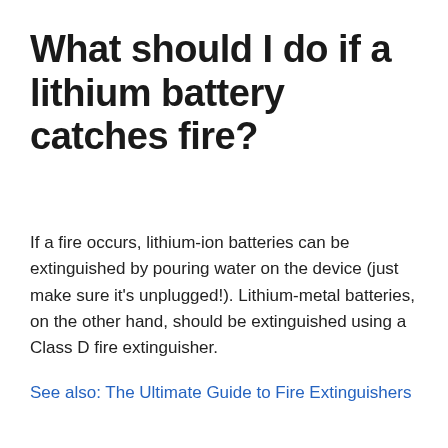What should I do if a lithium battery catches fire?
If a fire occurs, lithium-ion batteries can be extinguished by pouring water on the device (just make sure it's unplugged!). Lithium-metal batteries, on the other hand, should be extinguished using a Class D fire extinguisher.
See also: The Ultimate Guide to Fire Extinguishers